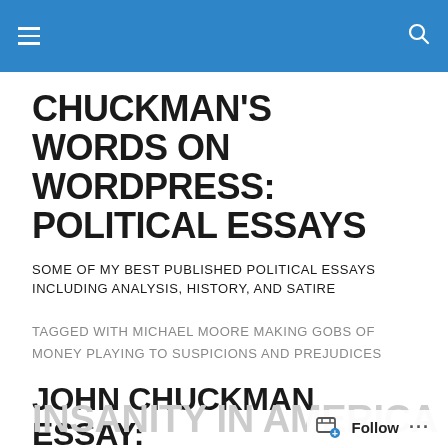CHUCKMAN'S WORDS ON WORDPRESS: POLITICAL ESSAYS
SOME OF MY BEST PUBLISHED POLITICAL ESSAYS INCLUDING ANALYSIS, HISTORY, AND SATIRE
TAGGED WITH MICHAEL MOORE MAKING GOBS OF MONEY PLAYING TO SUSPICIONS AND PREJUDICES
JOHN CHUCKMAN ESSAY:
INSANITY IN AMERICA